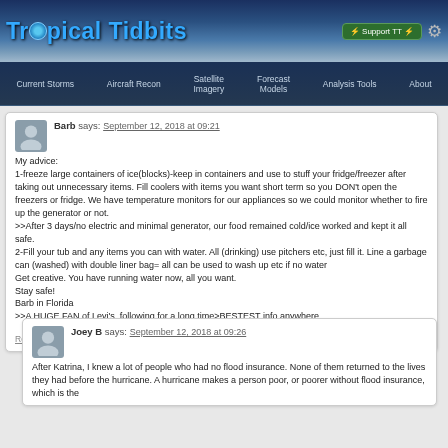Tropical Tidbits — website header with navigation: Current Storms, Aircraft Recon, Satellite Imagery, Forecast Models, Analysis Tools, About
Barb says: September 12, 2018 at 09:21

My advice:
1-freeze large containers of ice(blocks)-keep in containers and use to stuff your fridge/freezer after taking out unnecessary items. Fill coolers with items you want short term so you DON't open the freezers or fridge. We have temperature monitors for our appliances so we could monitor whether to fire up the generator or not.
>>After 3 days/no electric and minimal generator, our food remained cold/ice worked and kept it all safe.
2-Fill your tub and any items you can with water. All (drinking) use pitchers etc, just fill it. Line a garbage can (washed) with double liner bag= all can be used to wash up etc if no water
Get creative. You have running water now, all you want.
Stay safe!
Barb in Florida
>>A HUGE FAN of Levi's, following for a long time>BESTEST info anywhere
Reply
Joey B says: September 12, 2018 at 09:26

After Katrina, I knew a lot of people who had no flood insurance. None of them returned to the lives they had before the hurricane. A hurricane makes a person poor, or poorer without flood insurance, which is the